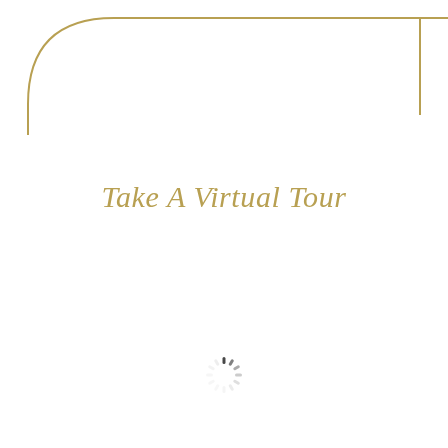[Figure (illustration): Decorative gold/tan curved corner border element in top-left and straight lines along top and right edges forming an open rectangular frame]
Take A Virtual Tour
[Figure (illustration): Loading spinner icon — small circular spinner with radiating dashes in dark gray/black, centered lower on the page]